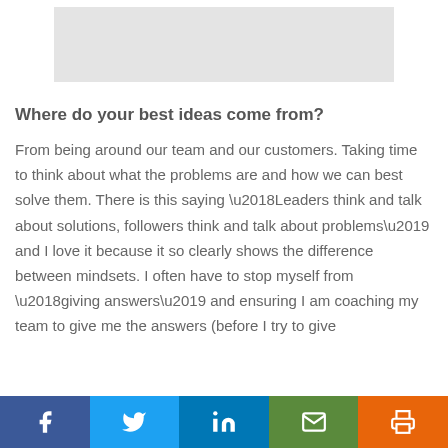[Figure (photo): Gray placeholder image area at the top of the page]
Where do your best ideas come from?
From being around our team and our customers. Taking time to think about what the problems are and how we can best solve them. There is this saying ‘Leaders think and talk about solutions, followers think and talk about problems’ and I love it because it so clearly shows the difference between mindsets. I often have to stop myself from ‘giving answers’ and ensuring I am coaching my team to give me the answers (before I try to give
[Figure (infographic): Social sharing bar at the bottom with Facebook, Twitter, LinkedIn, Email, and Print buttons]